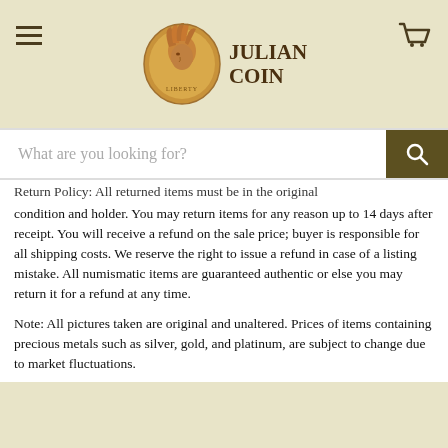[Figure (logo): Julian Coin logo with Indian head Liberty coin and text JULIAN COIN]
Return Policy: All returned items must be in the original condition and holder. You may return items for any reason up to 14 days after receipt. You will receive a refund on the sale price; buyer is responsible for all shipping costs. We reserve the right to issue a refund in case of a listing mistake. All numismatic items are guaranteed authentic or else you may return it for a refund at any time.

Note: All pictures taken are original and unaltered. Prices of items containing precious metals such as silver, gold, and platinum, are subject to change due to market fluctuations.